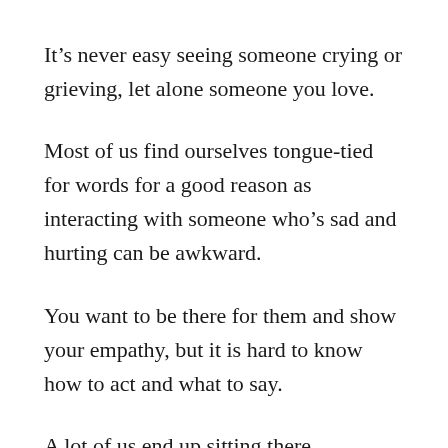It's never easy seeing someone crying or grieving, let alone someone you love.
Most of us find ourselves tongue-tied for words for a good reason as interacting with someone who's sad and hurting can be awkward.
You want to be there for them and show your empathy, but it is hard to know how to act and what to say.
A lot of us end up sitting there uncomfortably, offering some awkward back pats, while saying,